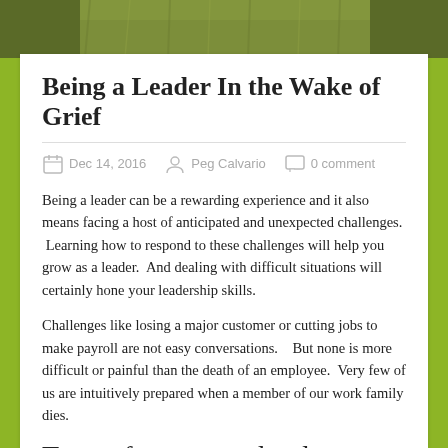[Figure (photo): Close-up photograph of a textured green/grey plant or foliage, serving as a decorative header banner image.]
Being a Leader In the Wake of Grief
Dec 14, 2016   Peg Calvario   0 comment
Being a leader can be a rewarding experience and it also means facing a host of anticipated and unexpected challenges.  Learning how to respond to these challenges will help you grow as a leader.  And dealing with difficult situations will certainly hone your leadership skills.
Challenges like losing a major customer or cutting jobs to make payroll are not easy conversations.   But none is more difficult or painful than the death of an employee.  Very few of us are intuitively prepared when a member of our work family dies.
Tears of sorrow and sadness
In the wake of such challenge,  I remember the heartbreak